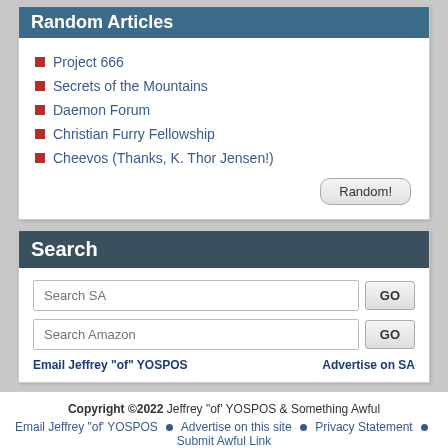Random Articles
Project 666
Secrets of the Mountains
Daemon Forum
Christian Furry Fellowship
Cheevos (Thanks, K. Thor Jensen!)
Search
Search SA
Search Amazon
Email Jeffrey "of" YOSPOS
Advertise on SA
Copyright ©2022 Jeffrey "of" YOSPOS & Something Awful
Email Jeffrey "of" YOSPOS · Advertise on this site · Privacy Statement · Submit Awful Link